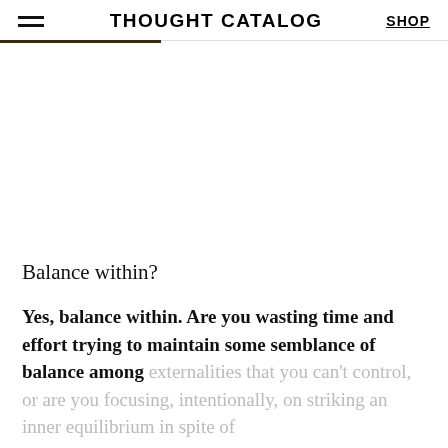THOUGHT CATALOG
Balance within?
Yes, balance within. Are you wasting time and effort trying to maintain some semblance of balance among externalities that you can't control, or are you focusing, intentionally, on striking an inner equilibrium in spite of